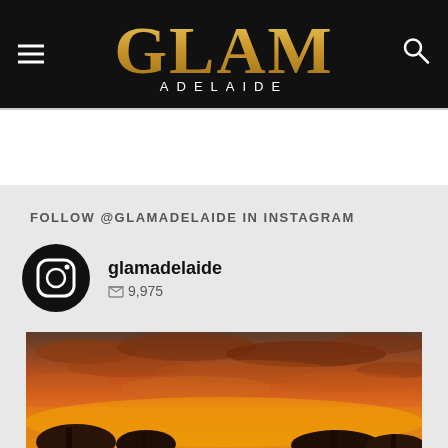GLAM ADELAIDE
FOLLOW @GLAMADELAIDE IN INSTAGRAM
glamadelaide
9,975
[Figure (photo): Sunset sky photo with orange and red clouds and silhouetted trees at bottom]